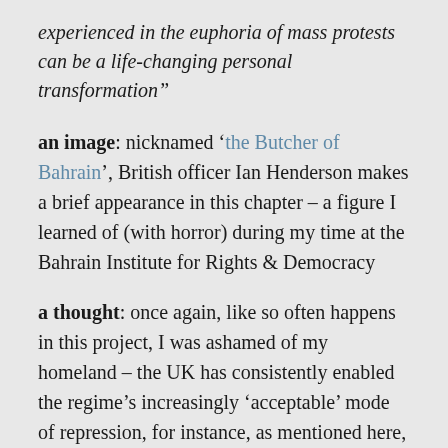experienced in the euphoria of mass protests can be a life-changing personal transformation"
an image: nicknamed 'the Butcher of Bahrain', British officer Ian Henderson makes a brief appearance in this chapter – a figure I learned of (with horror) during my time at the Bahrain Institute for Rights & Democracy
a thought: once again, like so often happens in this project, I was ashamed of my homeland – the UK has consistently enabled the regime's increasingly 'acceptable' mode of repression, for instance, as mentioned here, advising on